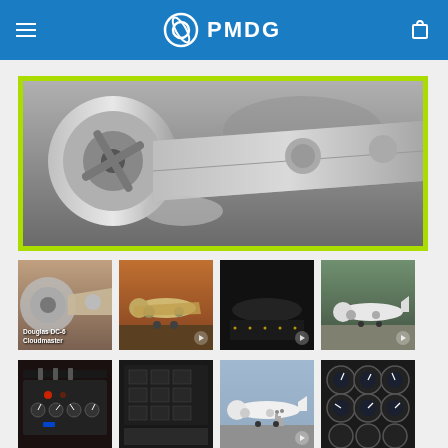PMDG
[Figure (screenshot): PMDG website screenshot showing Douglas DC-6 Cloudmaster aircraft product page with hero image and thumbnail gallery. The page features a blue header with PMDG logo, a large hero image of the DC-6 aircraft engine/propeller close-up, and two rows of four thumbnail images each showing various views of the aircraft including exterior shots, cockpit panels, and night scenes.]